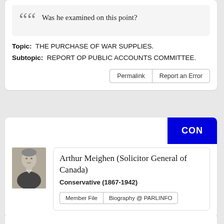Was he examined on this point?
Topic: THE PURCHASE OF WAR SUPPLIES. Subtopic: REPORT OP PUBLIC ACCOUNTS COMMITTEE.
Permalink | Report an Error
CON
[Figure (photo): Black and white portrait photo of Arthur Meighen]
Arthur Meighen (Solicitor General of Canada) Conservative (1867-1942)
Member File | Biography @ PARLINFO